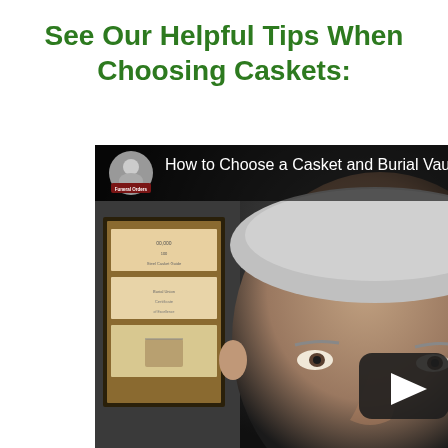See Our Helpful Tips When Choosing Caskets:
[Figure (screenshot): YouTube video thumbnail showing 'How to Choose a Casket and Burial Vault W...' with a channel avatar labeled 'Funeral Orders', a gray-haired man's face in close-up, framed certificates on the wall in the background, and a YouTube-style play button in the lower right.]